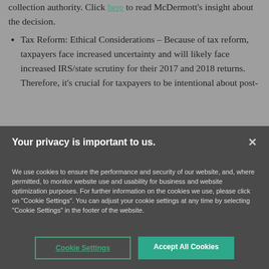collection authority. Click here to read McDermott's insight about the decision.
Tax Reform: Ethical Considerations – Because of tax reform, taxpayers face increased uncertainty and will likely face increased IRS/state scrutiny for their 2017 and 2018 returns. Therefore, it's crucial for taxpayers to be intentional about post-
Your privacy is important to us.
We use cookies to ensure the performance and security of our website, and, where permitted, to monitor website use and usability for business and website optimization purposes. For further information on the cookies we use, please click on "Cookie Settings". You can adjust your cookie settings at any time by selecting "Cookie Settings" in the footer of the website.
Cookie Settings
Accept All Cookies